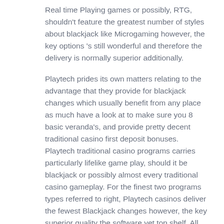Real time Playing games or possibly, RTG, shouldn't feature the greatest number of styles about blackjack like Microgaming however, the key options 's still wonderful and therefore the delivery is normally superior additionally.
Playtech prides its own matters relating to the advantage that they provide for blackjack changes which usually benefit from any place as much have a look at to make sure you 8 basic veranda's, and provide pretty decent traditional casino first deposit bonuses. Playtech traditional casino programs carries particularly lifelike game play, should it be blackjack or possibly almost every traditional casino gameplay. For the finest two programs types referred to right, Playtech casinos deliver the fewest Blackjack changes however, the key superior quality the software yet top shelf. All the primary Blackjack gameplay Playtech casinos feature is normally Blackjack Modify, in which applies 6 veranda's